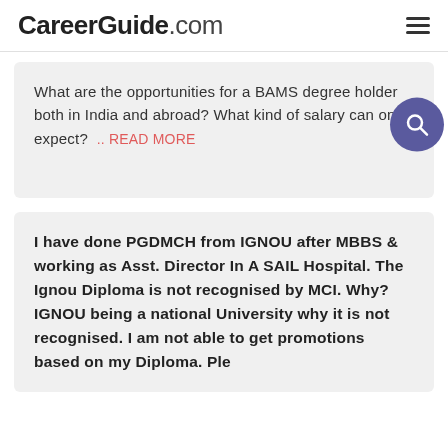CareerGuide.com
What are the opportunities for a BAMS degree holder both in India and abroad? What kind of salary can one expect? .. READ MORE
I have done PGDMCH from IGNOU after MBBS & working as Asst. Director In A SAIL Hospital. The Ignou Diploma is not recognised by MCI. Why? IGNOU being a national University why it is not recognised. I am not able to get promotions based on my Diploma. Ple